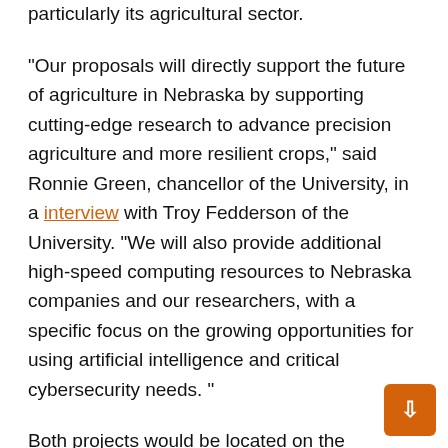advancement of Nebraska's industry, particularly its agricultural sector.
“Our proposals will directly support the future of agriculture in Nebraska by supporting cutting-edge research to advance precision agriculture and more resilient crops,” said Ronnie Green, chancellor of the University, in a interview with Troy Fedderson of the University. “We will also provide additional high-speed computing resources to Nebraska companies and our researchers, with a specific focus on the growing opportunities for using artificial intelligence and critical cybersecurity needs. ”
Both projects would be located on the University’s Nebraska Innovation Campus. The $